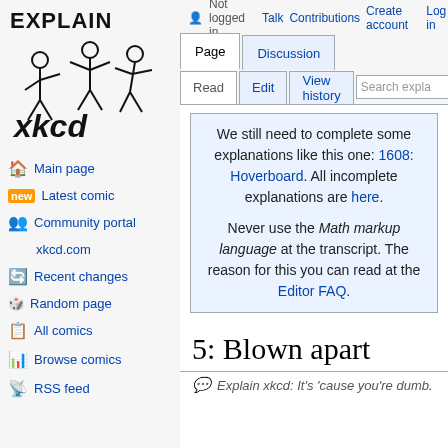[Figure (logo): Explain xkcd logo with stick figures and text EXPLAIN xkcd]
Not logged in  Talk  Contributions  Create account  Log in
Main page
Latest comic
Community portal
xkcd.com
Recent changes
Random page
All comics
Browse comics
RSS feed
We still need to complete some explanations like this one: 1608: Hoverboard. All incomplete explanations are here.
Never use the Math markup language at the transcript. The reason for this you can read at the Editor FAQ.
5: Blown apart
Explain xkcd: It's 'cause you're dumb.